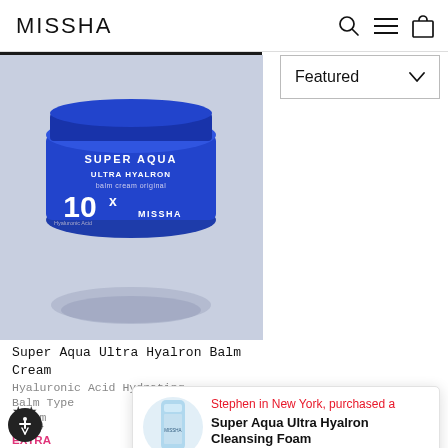MISSHA
Filter (1)
Featured
[Figure (photo): Blue jar of MISSHA Super Aqua Ultra Hyalron Balm Cream product on gray background]
Super Aqua Ultra Hyalron Balm Cream
Hyaluronic Acid Hydrating Balm Type Cream
★★
$40.0
EXTRA SUMMER
[Figure (photo): Small tube of MISSHA Super Aqua Ultra Hyalron Cleansing Foam product]
Stephen in New York, purchased a Super Aqua Ultra Hyalron Cleansing Foam 18 minutes ago